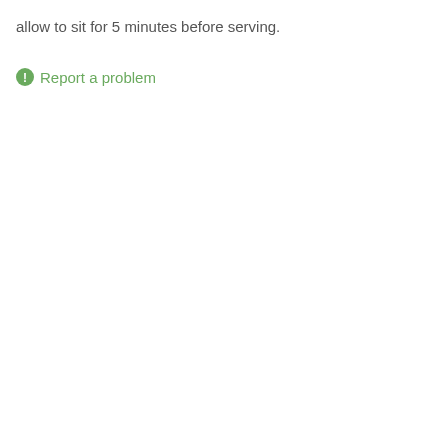allow to sit for 5 minutes before serving.
Report a problem